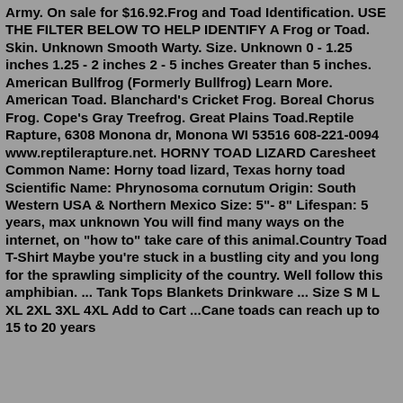Army. On sale for $16.92.Frog and Toad Identification. USE THE FILTER BELOW TO HELP IDENTIFY A Frog or Toad. Skin. Unknown Smooth Warty. Size. Unknown 0 - 1.25 inches 1.25 - 2 inches 2 - 5 inches Greater than 5 inches. American Bullfrog (Formerly Bullfrog) Learn More. American Toad. Blanchard's Cricket Frog. Boreal Chorus Frog. Cope's Gray Treefrog. Great Plains Toad.Reptile Rapture, 6308 Monona dr, Monona WI 53516 608-221-0094 www.reptilerapture.net. HORNY TOAD LIZARD Caresheet Common Name: Horny toad lizard, Texas horny toad Scientific Name: Phrynosoma cornutum Origin: South Western USA & Northern Mexico Size: 5"- 8" Lifespan: 5 years, max unknown You will find many ways on the internet, on "how to" take care of this animal.Country Toad T-Shirt Maybe you're stuck in a bustling city and you long for the sprawling simplicity of the country. Well follow this amphibian. ... Tank Tops Blankets Drinkware ... Size S M L XL 2XL 3XL 4XL Add to Cart ...Cane toads can reach up to 15 to 20 years